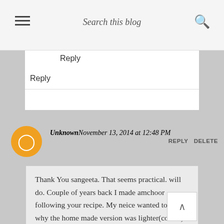Search this blog
dried tomatoes. Try and see for 2 kilo singhatras.
Reply
Reply
Unknown  November 13, 2014 at 12:48 PM  REPLY  DELETE
Thank You sangeeta. That seems practical. will do. Couple of years back I made amchoor following your recipe. My neice wanted to know why the home made version was lighter(colour) than store bought one. I realised that the commercial one did not bother to peel the mangoes. I do hope they wash the mangoes though for once I had witnessed